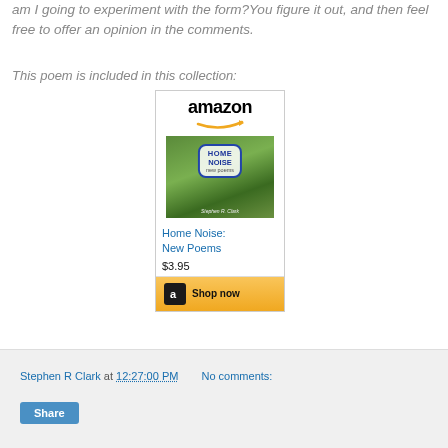am I going to experiment with the form?You figure it out, and then feel free to offer an opinion in the comments.
This poem is included in this collection:
[Figure (other): Amazon product widget showing the book 'Home Noise: New Poems' by Stephen R. Clark priced at $3.95 with a Shop now button]
Stephen R Clark at 12:27:00 PM   No comments:
Share